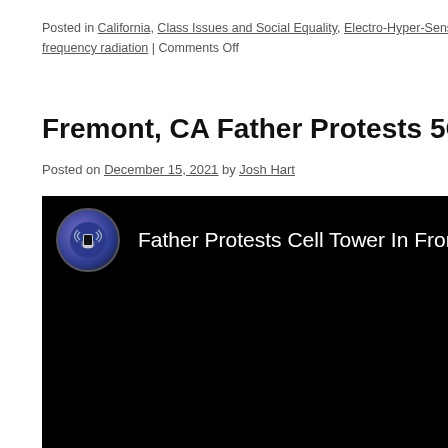Posted in California, Class Issues and Social Equality, Electro-Hyper-Sensitivity, frequency radiation | Comments Off
Fremont, CA Father Protests 5G Cell Site…
Posted on December 15, 2021 by Josh Hart
[Figure (screenshot): Video thumbnail with a circular avatar icon showing a hand holding a phone with wave signals, and title text 'Father Protests Cell Tower In Front of Home…' on black background]